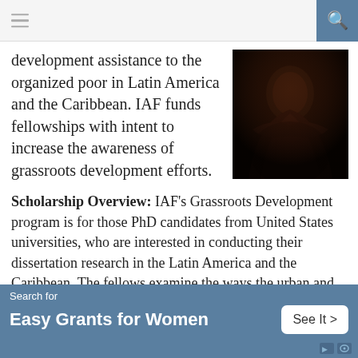≡  [search icon]
development assistance to the organized poor in Latin America and the Caribbean. IAF funds fellowships with intent to increase the awareness of grassroots development efforts.
[Figure (photo): Dark silhouette of a person with arms crossed, wearing a dark robe or jacket, against a dark background.]
Scholarship Overview: IAF's Grassroots Development program is for those PhD candidates from United States universities, who are interested in conducting their dissertation research in the Latin America and the Caribbean. The fellows examine the ways the urban and the rural people work to improve their lives, their methods of production and organization, and their developmental
Search for
Easy Grants for Women
See It >